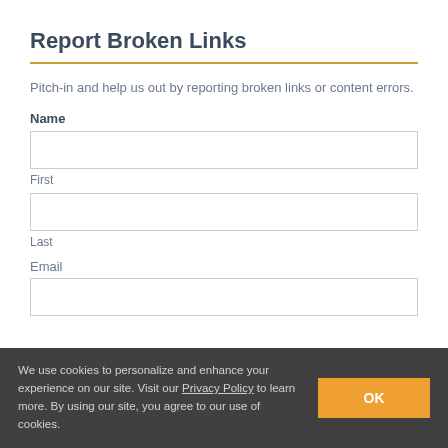Report Broken Links
Pitch-in and help us out by reporting broken links or content errors.
Name
First
Last
Email
We use cookies to personalize and enhance your experience on our site. Visit our Privacy Policy to learn more. By using our site, you agree to our use of cookies.